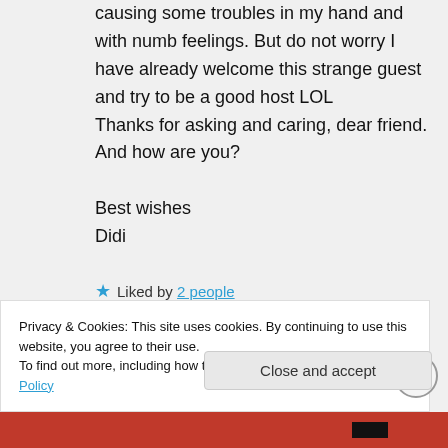causing some troubles in my hand and with numb feelings. But do not worry I have already welcome this strange guest and try to be a good host LOL
Thanks for asking and caring, dear friend.
And how are you?

Best wishes
Didi
★ Liked by 2 people
Privacy & Cookies: This site uses cookies. By continuing to use this website, you agree to their use.
To find out more, including how to control cookies, see here: Cookie Policy